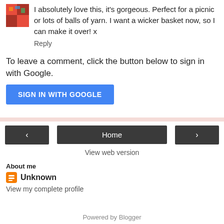[Figure (photo): Small avatar/thumbnail image in top left corner]
I absolutely love this, it's gorgeous. Perfect for a picnic or lots of balls of yarn. I want a wicker basket now, so I can make it over! x
Reply
To leave a comment, click the button below to sign in with Google.
SIGN IN WITH GOOGLE
Home
View web version
About me
Unknown
View my complete profile
Powered by Blogger